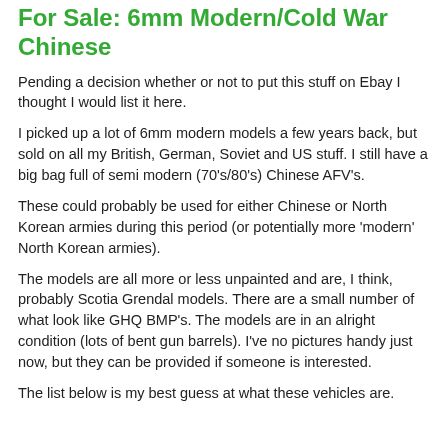For Sale: 6mm Modern/Cold War Chinese
Pending a decision whether or not to put this stuff on Ebay I thought I would list it here.
I picked up a lot of 6mm modern models a few years back, but sold on all my British, German, Soviet and US stuff. I still have a big bag full of semi modern (70's/80's) Chinese AFV's.
These could probably be used for either Chinese or North Korean armies during this period (or potentially more 'modern' North Korean armies).
The models are all more or less unpainted and are, I think, probably Scotia Grendal models. There are a small number of what look like GHQ BMP's. The models are in an alright condition (lots of bent gun barrels). I've no pictures handy just now, but they can be provided if someone is interested.
The list below is my best guess at what these vehicles are.